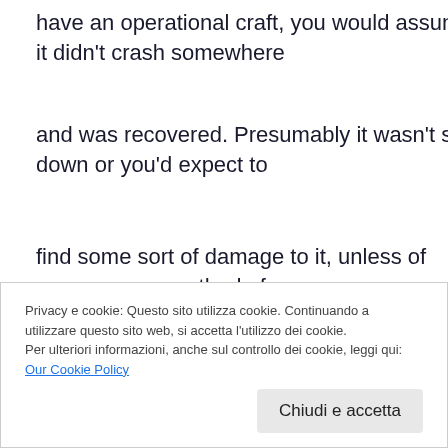have an operational craft, you would assume it didn't crash somewhere
and was recovered. Presumably it wasn't shot down or you'd expect to
find some sort of damage to it, unless of course some method of
electromagnetic pulse weapon system or something like that might have
been used to disable the craft. And can someone please name at
Privacy e cookie: Questo sito utilizza cookie. Continuando a utilizzare questo sito web, si accetta l'utilizzo dei cookie.
Per ulteriori informazioni, anche sul controllo dei cookie, leggi qui: Our Cookie Policy